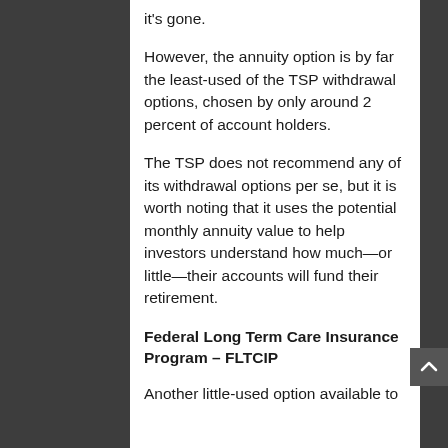it's gone.
However, the annuity option is by far the least-used of the TSP withdrawal options, chosen by only around 2 percent of account holders.
The TSP does not recommend any of its withdrawal options per se, but it is worth noting that it uses the potential monthly annuity value to help investors understand how much—or little—their accounts will fund their retirement.
Federal Long Term Care Insurance Program – FLTCIP
Another little-used option available to